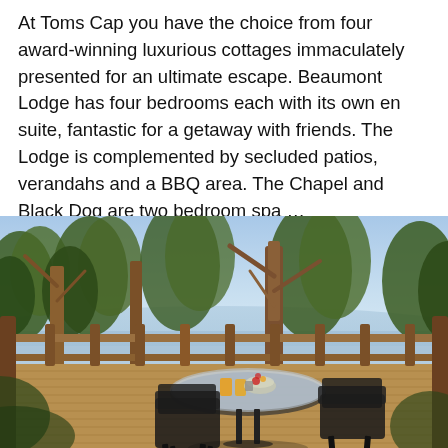At Toms Cap you have the choice from four award-winning luxurious cottages immaculately presented for an ultimate escape. Beaumont Lodge has four bedrooms each with its own en suite, fantastic for a getaway with friends. The Lodge is complemented by secluded patios, verandahs and a BBQ area. The Chapel and Black Dog are two bedroom spa … Continue Reading »»
[Figure (photo): Outdoor timber deck with two black wicker chairs and a glass-top table set with orange juice and fruit, surrounded by gum trees with a water view in the background.]